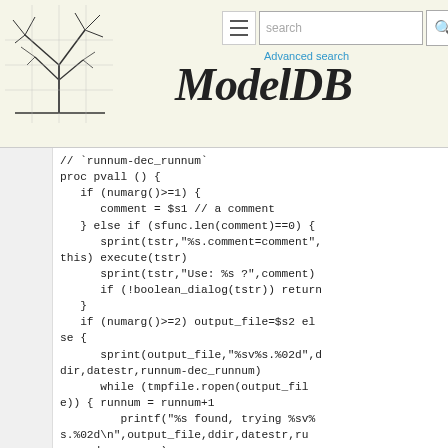ModelDB — search bar header
// `runnum-dec_runnum`
proc pvall () {
   if (numarg()>=1) {
      comment = $s1 // a comment
   } else if (sfunc.len(comment)==0) {
      sprint(tstr,"%s.comment=comment",this) execute(tstr)
      sprint(tstr,"Use: %s ?",comment)
      if (!boolean_dialog(tstr)) return
   }
   if (numarg()>=2) output_file=$s2 else {
      sprint(output_file,"%sv%s.%02d",ddir,datestr,runnum-dec_runnum)
      while (tmpfile.ropen(output_file)) { runnum = runnum+1
         printf("%s found, trying %sv%s.%02d\n",output_file,ddir,datestr,runnum-dec_runnum)
         sprint(output_file,"%sv%s.%02